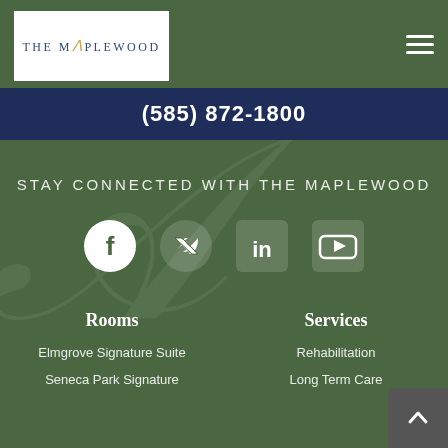[Figure (logo): The Maplewood logo with stylized letter A in gold]
(585) 872-1800
STAY CONNECTED WITH THE MAPLEWOOD
[Figure (infographic): Social media icons: Facebook, Twitter, LinkedIn, YouTube]
Rooms
Services
Elmgrove Signature Suite
Rehabilitation
Seneca Park Signature
Long Term Care